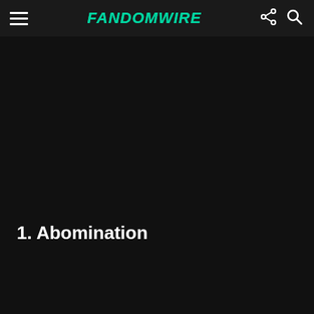FandomWire
[Figure (illustration): Large dark black image area, mostly black/dark background content]
1. Abomination